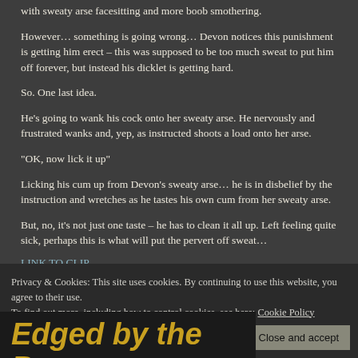with sweaty arse facesitting and more boob smothering.
However… something is going wrong… Devon notices this punishment is getting him erect – this was supposed to be too much sweat to put him off forever, but instead his dicklet is getting hard.
So. One last idea.
He's going to wank his cock onto her sweaty arse. He nervously and frustrated wanks and, yep, as instructed shoots a load onto her arse.
“OK, now lick it up”
Licking his cum up from Devon’s sweaty arse… he is in disbelief by the instruction and wretches as he tastes his own cum from her sweaty arse.
But, no, it’s not just one taste – he has to clean it all up. Left feeling quite sick, perhaps this is what will put the pervert off sweat…
LINK TO CLIP
More from Devon Breeze
Privacy & Cookies: This site uses cookies. By continuing to use this website, you agree to their use.
To find out more, including how to control cookies, see here: Cookie Policy
Close and accept
Edged by the Boss